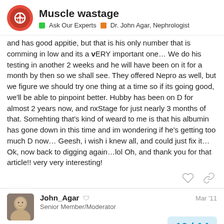Muscle wastage | Ask Our Experts | Dr. John Agar, Nephrologist
and has good appitie, but that is his only number that is comming in low and its a vERY important one… We do his testing in another 2 weeks and he will have been on it for a month by then so we shall see. They offered Nepro as well, but we figure we should try one thing at a time so if its going good, we'll be able to pinpoint better. Hubby has been on D for almost 2 years now, and nxStage for just nearly 3 months of that. Somehting that's kind of weard to me is that his albumin has gone down in this time and im wondering if he's getting too much D now… Geesh, i wish i knew all, and could just fix it… Ok, now back to digging again…lol Oh, and thank you for that article!! very very interesting!
John_Agar  Senior Member/Moderator  Mar '11
There is no doubt about it, each question y